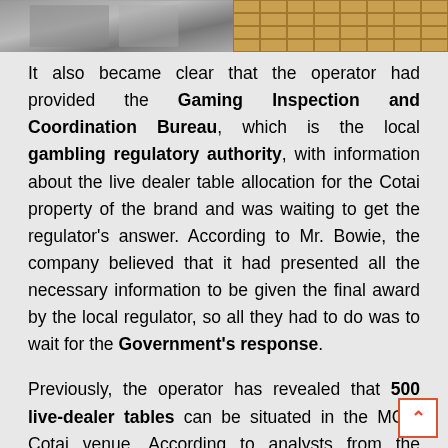[Figure (photo): Two partial images at top: left shows a gray/silver textured surface, right shows a golden grid/tile pattern]
It also became clear that the operator had provided the Gaming Inspection and Coordination Bureau, which is the local gambling regulatory authority, with information about the live dealer table allocation for the Cotai property of the brand and was waiting to get the regulator's answer. According to Mr. Bowie, the company believed that it had presented all the necessary information to be given the final award by the local regulator, so all they had to do was to wait for the Government's response.
Previously, the operator has revealed that 500 live-dealer tables can be situated in the MGM Cotai venue. According to analysts from the Deutsche Bank Securities Inc., MGM China is to get a permission for a total of 150 tables for the Cotai property that is soon to be open.